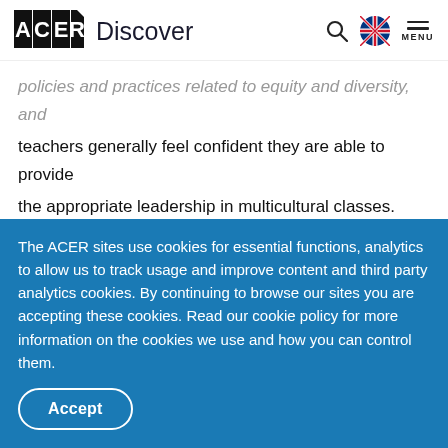ACER Discover
policies and practices related to equity and diversity, and teachers generally feel confident they are able to provide the appropriate leadership in multicultural classes.
In addition, a high proportion of Australian schools have additional supports in place specifically for
The ACER sites use cookies for essential functions, analytics to allow us to track usage and improve content and third party analytics cookies. By continuing to browse our sites you are accepting these cookies. Read our cookie policy for more information on the cookies we use and how you can control them.
Accept